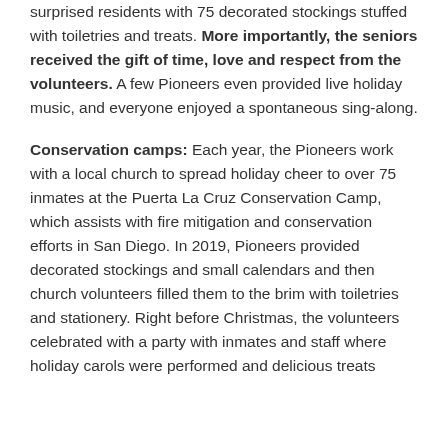surprised residents with 75 decorated stockings stuffed with toiletries and treats. More importantly, the seniors received the gift of time, love and respect from the volunteers. A few Pioneers even provided live holiday music, and everyone enjoyed a spontaneous sing-along.
Conservation camps: Each year, the Pioneers work with a local church to spread holiday cheer to over 75 inmates at the Puerta La Cruz Conservation Camp, which assists with fire mitigation and conservation efforts in San Diego. In 2019, Pioneers provided decorated stockings and small calendars and then church volunteers filled them to the brim with toiletries and stationery. Right before Christmas, the volunteers celebrated with a party with inmates and staff where holiday carols were performed and delicious treats